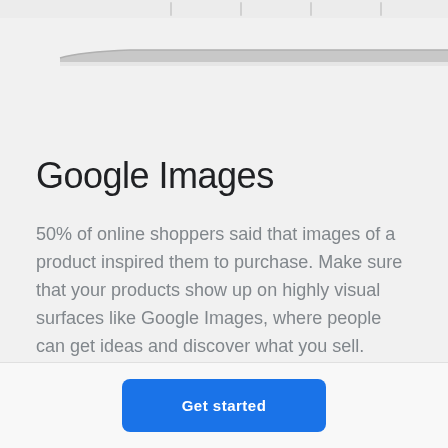[Figure (screenshot): Partial top view of a laptop or device border rendered in light gray, shown at an angle against a light gray background]
Google Images
50% of online shoppers said that images of a product inspired them to purchase. Make sure that your products show up on highly visual surfaces like Google Images, where people can get ideas and discover what you sell.
Get started